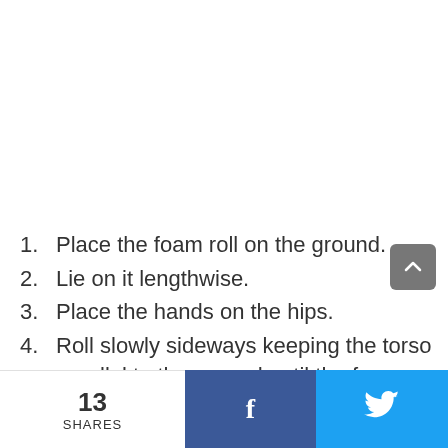1. Place the foam roll on the ground.
2. Lie on it lengthwise.
3. Place the hands on the hips.
4. Roll slowly sideways keeping the torso parallel to the ground until the foam roller rolls over the scapular muscles where the sore trigger points
13 SHARES  f  🐦